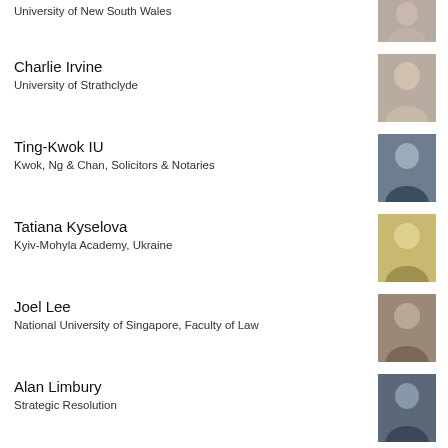University of New South Wales
[Figure (photo): Headshot photo of person at University of New South Wales]
Charlie Irvine
University of Strathclyde
[Figure (photo): Headshot photo of Charlie Irvine]
Ting-Kwok IU
Kwok, Ng & Chan, Solicitors & Notaries
[Figure (photo): Headshot photo of Ting-Kwok IU]
Tatiana Kyselova
Kyiv-Mohyla Academy, Ukraine
[Figure (photo): Headshot photo of Tatiana Kyselova]
Joel Lee
National University of Singapore, Faculty of Law
[Figure (photo): Headshot photo of Joel Lee]
Alan Limbury
Strategic Resolution
[Figure (photo): Headshot photo of Alan Limbury]
Andrea Maia
Mediar360 - Dispute Resolution
[Figure (photo): Headshot photo of Andrea Maia]
Ian Macduff
NZ Centre for ICT Law & School of Law, Auckland University